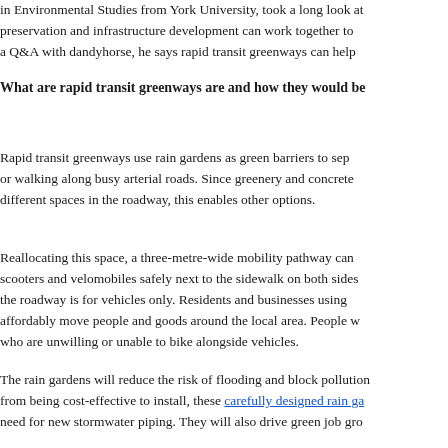in Environmental Studies from York University, took a long look at preservation and infrastructure development can work together to a Q&A with dandyhorse, he says rapid transit greenways can help
What are rapid transit greenways are and how they would be
Rapid transit greenways use rain gardens as green barriers to sep or walking along busy arterial roads. Since greenery and concrete different spaces in the roadway, this enables other options.
Reallocating this space, a three-metre-wide mobility pathway can scooters and velomobiles safely next to the sidewalk on both sides the roadway is for vehicles only. Residents and businesses using affordably move people and goods around the local area. People who are unwilling or unable to bike alongside vehicles.
The rain gardens will reduce the risk of flooding and block pollution from being cost-effective to install, these carefully designed rain ga need for new stormwater piping. They will also drive green job gro